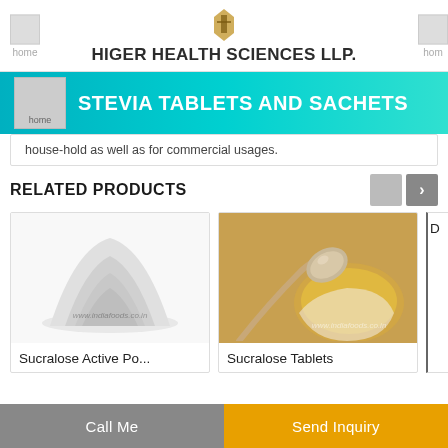HIGER HEALTH SCIENCES LLP.
STEVIA TABLETS AND SACHETS
house-hold as well as for commercial usages.
RELATED PRODUCTS
[Figure (photo): Sucralose Active Powder - a pile of white powder on white background with indiafoods.co.in watermark]
Sucralose Active Po...
[Figure (photo): Sucralose Tablets - a golden spoon resting in a bowl of golden liquid, indiafoods.co.in watermark]
Sucralose Tablets
Call Me
Send Inquiry